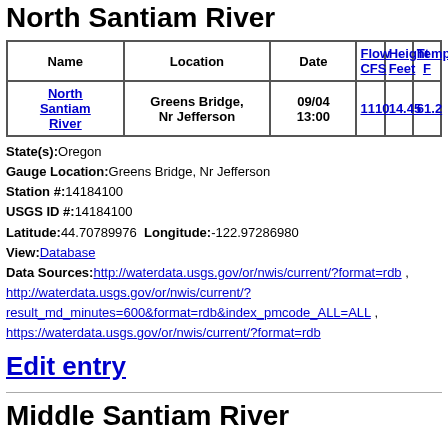North Santiam River
| Name | Location | Date | Flow CFS | Height Feet | Temp F |
| --- | --- | --- | --- | --- | --- |
| North Santiam River | Greens Bridge, Nr Jefferson | 09/04 13:00 | 1110 | 14.45 | 61.2 |
State(s): Oregon
Gauge Location: Greens Bridge, Nr Jefferson
Station #: 14184100
USGS ID #: 14184100
Latitude: 44.70789976  Longitude: -122.97286980
View: Database
Data Sources: http://waterdata.usgs.gov/or/nwis/current/?format=rdb , http://waterdata.usgs.gov/or/nwis/current/?result_md_minutes=600&format=rdb&index_pmcode_ALL=ALL , https://waterdata.usgs.gov/or/nwis/current/?format=rdb
Edit entry
Middle Santiam River